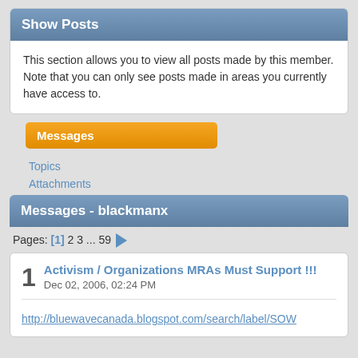Show Posts
This section allows you to view all posts made by this member. Note that you can only see posts made in areas you currently have access to.
Messages
Topics
Attachments
Messages - blackmanx
Pages: [1] 2 3 ... 59 →
1  Activism / Organizations MRAs Must Support !!!
Dec 02, 2006, 02:24 PM
http://bluewavecanada.blogspot.com/search/label/SOW